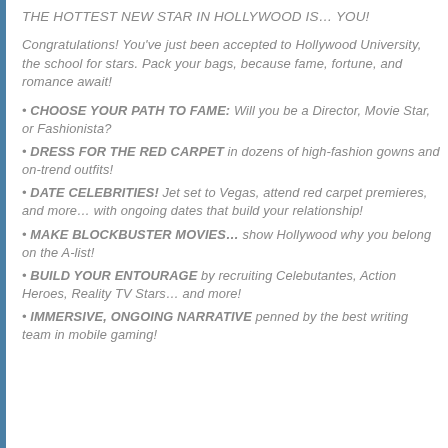THE HOTTEST NEW STAR IN HOLLYWOOD IS… YOU!
Congratulations! You've just been accepted to Hollywood University, the school for stars. Pack your bags, because fame, fortune, and romance await!
CHOOSE YOUR PATH TO FAME: Will you be a Director, Movie Star, or Fashionista?
DRESS FOR THE RED CARPET in dozens of high-fashion gowns and on-trend outfits!
DATE CELEBRITIES! Jet set to Vegas, attend red carpet premieres, and more… with ongoing dates that build your relationship!
MAKE BLOCKBUSTER MOVIES… show Hollywood why you belong on the A-list!
BUILD YOUR ENTOURAGE by recruiting Celebutantes, Action Heroes, Reality TV Stars… and more!
IMMERSIVE, ONGOING NARRATIVE penned by the best writing team in mobile gaming!